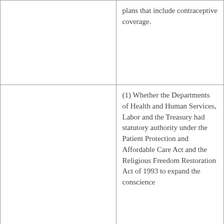|  | plans that include contraceptive coverage. |
|  | (1) Whether the Departments of Health and Human Services, Labor and the Treasury had statutory authority under the Patient Protection and Affordable Care Act and the Religious Freedom Restoration Act of 1993 to expand the conscience |